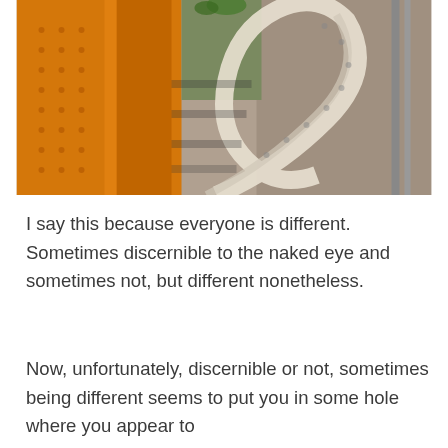[Figure (photo): A spiral staircase photographed from below, inside a building with orange/yellow painted walls and ornate perforated metal railings. The staircase winds upward, and the walls show decorative ironwork and architectural details in warm orange and gray tones.]
I say this because everyone is different. Sometimes discernible to the naked eye and sometimes not, but different nonetheless.
Now, unfortunately, discernible or not, sometimes being different seems to put you in some hole where you appear to